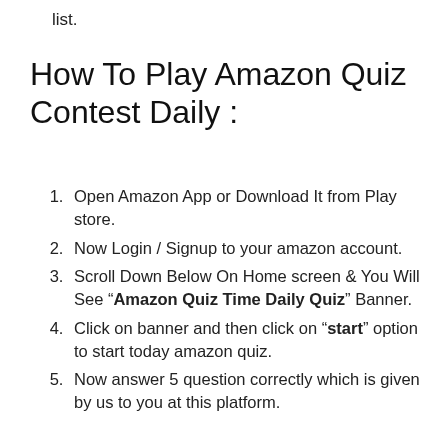list.
How To Play Amazon Quiz Contest Daily :
Open Amazon App or Download It from Play store.
Now Login / Signup to your amazon account.
Scroll Down Below On Home screen & You Will See “Amazon Quiz Time Daily Quiz” Banner.
Click on banner and then click on “start” option to start today amazon quiz.
Now answer 5 question correctly which is given by us to you at this platform.